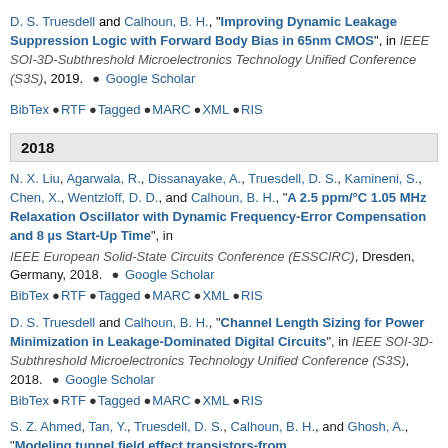D. S. Truesdell and Calhoun, B. H., "Improving Dynamic Leakage Suppression Logic with Forward Body Bias in 65nm CMOS", in IEEE SOI-3D-Subthreshold Microelectronics Technology Unified Conference (S3S), 2019. • Google Scholar • BibTex • RTF • Tagged • MARC • XML • RIS
2018
N. X. Liu, Agarwala, R., Dissanayake, A., Truesdell, D. S., Kamineni, S., Chen, X., Wentzloff, D. D., and Calhoun, B. H., "A 2.5 ppm/°C 1.05 MHz Relaxation Oscillator with Dynamic Frequency-Error Compensation and 8 µs Start-Up Time", in IEEE European Solid-State Circuits Conference (ESSCIRC), Dresden, Germany, 2018. • Google Scholar • BibTex • RTF • Tagged • MARC • XML • RIS
D. S. Truesdell and Calhoun, B. H., "Channel Length Sizing for Power Minimization in Leakage-Dominated Digital Circuits", in IEEE SOI-3D-Subthreshold Microelectronics Technology Unified Conference (S3S), 2018. • Google Scholar • BibTex • RTF • Tagged • MARC • XML • RIS
S. Z. Ahmed, Tan, Y., Truesdell, D. S., Calhoun, B. H., and Ghosh, A., "Modeling tunnel field effect transistors-from